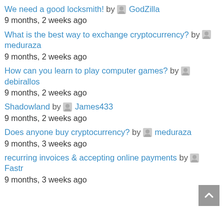We need a good locksmith! by GodZilla
9 months, 2 weeks ago
What is the best way to exchange cryptocurrency? by meduraza
9 months, 2 weeks ago
How can you learn to play computer games? by debirallos
9 months, 2 weeks ago
Shadowland by James433
9 months, 2 weeks ago
Does anyone buy cryptocurrency? by meduraza
9 months, 3 weeks ago
recurring invoices & accepting online payments by Fastr
9 months, 3 weeks ago